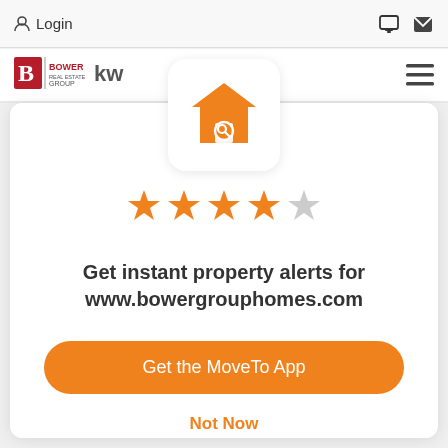Login
[Figure (logo): Bower Real Estate Group | KW (Keller Williams) logo]
[Figure (illustration): Orange house with magnifying glass search icon]
[Figure (other): 4 filled orange stars and 1 empty/gray star rating]
Get instant property alerts for www.bowergrouphomes.com
Get the MoveTo App
Not Now